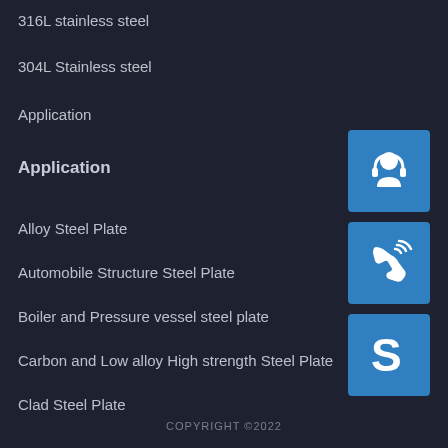316L stainless steel
304L Stainless steel
Application
Application
Alloy Steel Plate
Automobile Structure Steel Plate
Boiler and Pressure vessel steel plate
Carbon and Low alloy High strength Steel Plate
Clad Steel Plate
[Figure (illustration): Customer service / headset icon in blue square]
[Figure (illustration): Phone with signal waves icon in blue square]
[Figure (illustration): Skype logo icon in blue square]
COPYRIGHT ©2022